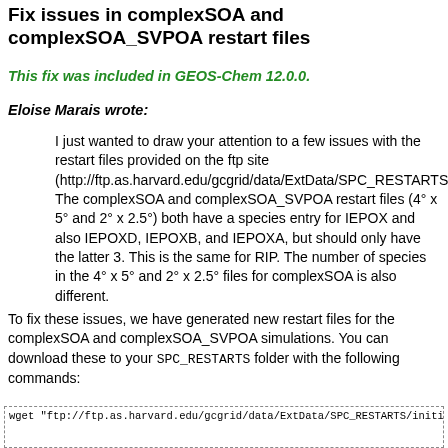Fix issues in complexSOA and complexSOA_SVPOA restart files
This fix was included in GEOS-Chem 12.0.0.
Eloise Marais wrote:
I just wanted to draw your attention to a few issues with the restart files provided on the ftp site (http://ftp.as.harvard.edu/gcgrid/data/ExtData/SPC_RESTARTS). The complexSOA and complexSOA_SVPOA restart files (4° x 5° and 2° x 2.5°) both have a species entry for IEPOX and also IEPOXD, IEPOXB, and IEPOXA, but should only have the latter 3. This is the same for RIP. The number of species in the 4° x 5° and 2° x 2.5° files for complexSOA is also different.
To fix these issues, we have generated new restart files for the complexSOA and complexSOA_SVPOA simulations. You can download these to your SPC_RESTARTS folder with the following commands:
wget "ftp://ftp.as.harvard.edu/gcgrid/data/ExtData/SPC_RESTARTS/initi
wget "ftp://ftp.as.harvard.edu/gcgrid/data/ExtData/SPC_RESTARTS/initi
wget "ftp://ftp.as.harvard.edu/gcgrid/data/ExtData/SPC_RESTARTS/initi